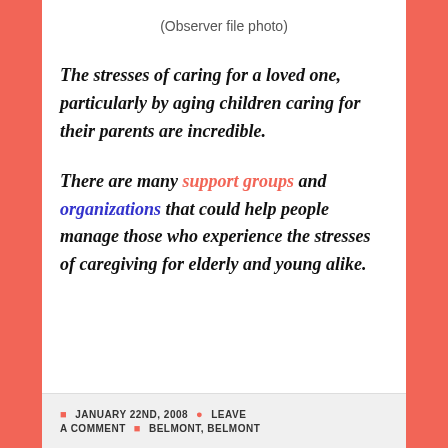(Observer file photo)
The stresses of caring for a loved one, particularly by aging children caring for their parents are incredible.
There are many support groups and organizations that could help people manage those who experience the stresses of caregiving for elderly and young alike.
JANUARY 22ND, 2008   LEAVE A COMMENT   BELMONT, BELMONT